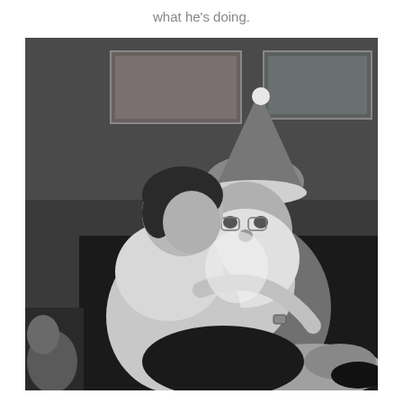what he's doing.
[Figure (photo): Vintage black and white photograph showing a woman sitting on Santa Claus's lap, leaning in close to his face, with her arms around him. Santa is in full costume with white beard and hat. They are seated on what appears to be a dark sofa. Framed pictures hang on the wall in the background. A Christmas tree is partially visible on the left edge.]